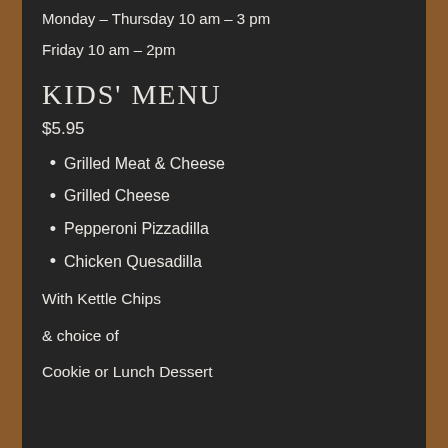Monday – Thursday 10 am – 3 pm
Friday 10 am – 2pm
KIDS' MENU
$5.95
Grilled Meat & Cheese
Grilled Cheese
Pepperoni Pizzadilla
Chicken Quesadilla
With Kettle Chips
& choice of
Cookie or Lunch Dessert